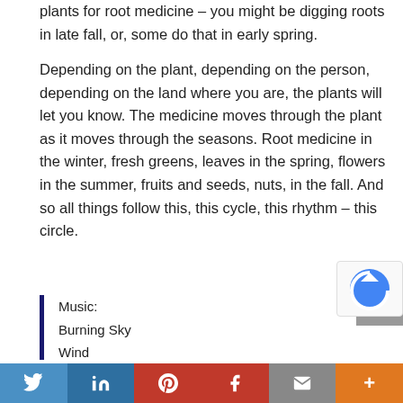plants for root medicine – you might be digging roots in late fall, or, some do that in early spring.
Depending on the plant, depending on the person, depending on the land where you are, the plants will let you know. The medicine moves through the plant as it moves through the seasons. Root medicine in the winter, fresh greens, leaves in the spring, flowers in the summer, fruits and seeds, nuts, in the fall. And so all things follow this, this cycle, this rhythm – this circle.
Music:
Burning Sky
Wind
...